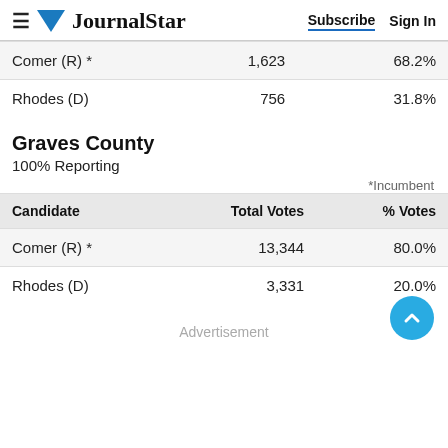Journal Star — Subscribe | Sign In
| Candidate | Total Votes | % Votes |
| --- | --- | --- |
| Comer (R) * | 1,623 | 68.2% |
| Rhodes (D) | 756 | 31.8% |
Graves County
100% Reporting
*Incumbent
| Candidate | Total Votes | % Votes |
| --- | --- | --- |
| Comer (R) * | 13,344 | 80.0% |
| Rhodes (D) | 3,331 | 20.0% |
Advertisement